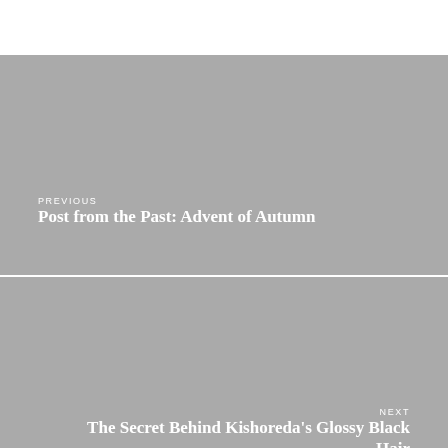[Figure (other): Gray navigation block for previous post]
PREVIOUS
Post from the Past: Advent of Autumn
[Figure (other): Gray navigation block for next post]
NEXT
The Secret Behind Kishoreda's Glossy Black Hair